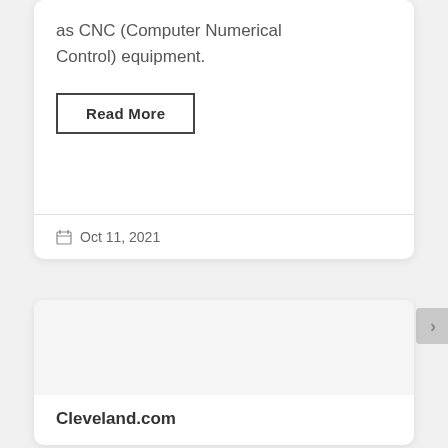as CNC (Computer Numerical Control) equipment.
Read More
Oct 11, 2021
Cleveland.com